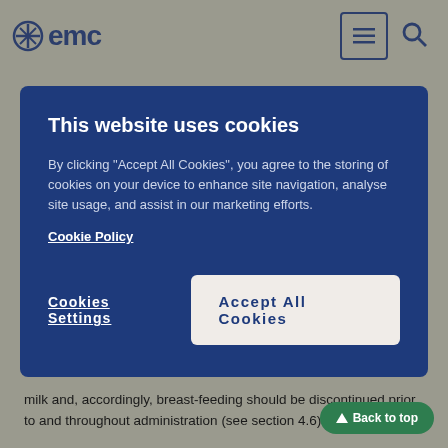emc
This website uses cookies
By clicking "Accept All Cookies", you agree to the storing of cookies on your device to enhance site navigation, analyse site usage, and assist in our marketing efforts. Cookie Policy
Cookies Settings | Accept All Cookies
milk and, accordingly, breast-feeding should be discontinued prior to and throughout administration (see section 4.6).
4.4 Special warnings and precautions for use
Myelosuppression
Myelosuppression (including anaemia, leucopenia, pancytopenia and thrombocytopenia) has been reported in patients receiving linezolid. In cases where the outcome is known, when linezolid was discontinued, the affected haematologic parameters have risen toward pre-treatment levels. The risk of these effects appears to be related to the duration of treatment. Elderly patients treated with linezolid may be at greater risk of experiencing